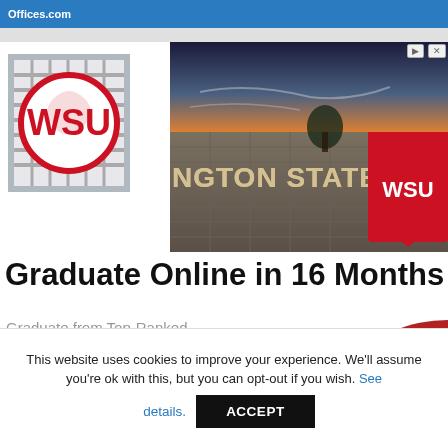Offices.com
[Figure (screenshot): Washington State University advertisement showing WSU logo on left and campus entrance stone wall with 'Washington State' lettering and WSU shield logo at sunset on right. Small ad icons (triangle and X) in top-right corner.]
Graduate Online in 16 Months
Graduate from Top-Ranked Washington State University 100%
This website uses cookies to improve your experience. We'll assume you're ok with this, but you can opt-out if you wish. See details. ACCEPT